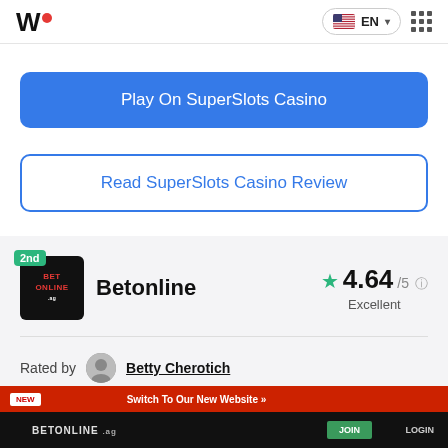W. EN
Play On SuperSlots Casino
Read SuperSlots Casino Review
2nd  Betonline  4.64/5  Excellent
Rated by  Betty Cherotich
[Figure (screenshot): Preview strip of Betonline website showing red header with NEW badge, 'Switch To Our New Website' text, JOIN and LOGIN buttons]